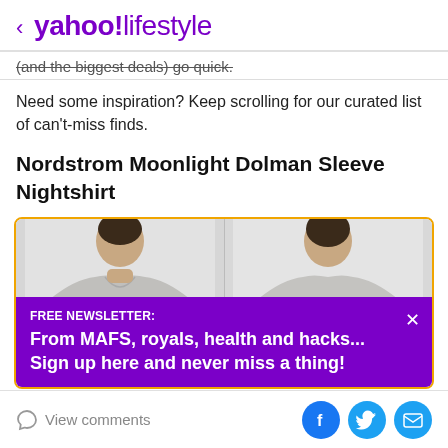< yahoo!lifestyle
(and the biggest deals) go quick.
Need some inspiration? Keep scrolling for our curated list of can't-miss finds.
Nordstrom Moonlight Dolman Sleeve Nightshirt
[Figure (photo): Product photo showing Nordstrom Moonlight Dolman Sleeve Nightshirt from front and back views on model, inside an orange-bordered card. A purple newsletter signup banner overlays the bottom: 'FREE NEWSLETTER: From MAFS, royals, health and hacks... Sign up here and never miss a thing!']
View comments | Facebook | Twitter | Email